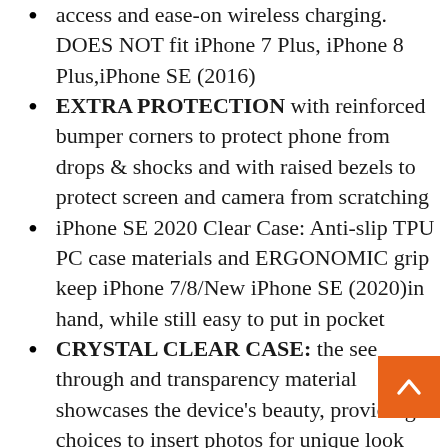access and ease-on wireless charging. DOES NOT fit iPhone 7 Plus, iPhone 8 Plus,iPhone SE (2016)
EXTRA PROTECTION with reinforced bumper corners to protect phone from drops & shocks and with raised bezels to protect screen and camera from scratching
iPhone SE 2020 Clear Case: Anti-slip TPU PC case materials and ERGONOMIC grip keep iPhone 7/8/New iPhone SE (2020)in hand, while still easy to put in pocket
CRYSTAL CLEAR CASE: the see through and transparency material showcases the device's beauty, providing choices to insert photos for unique look meanwhile cushioning your device from all angles
DURABILITY: premium TPU offers optimum